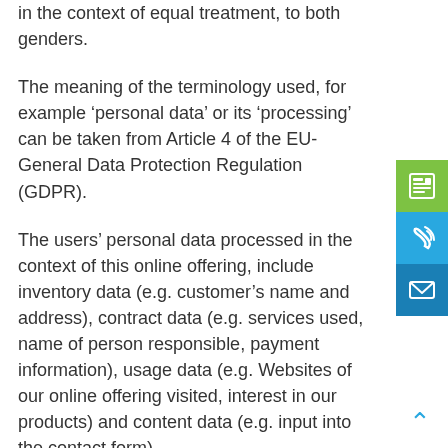in the context of equal treatment, to both genders.
The meaning of the terminology used, for example ‘personal data’ or its ‘processing’ can be taken from Article 4 of the EU-General Data Protection Regulation (GDPR).
The users’ personal data processed in the context of this online offering, include inventory data (e.g. customer’s name and address), contract data (e.g. services used, name of person responsible, payment information), usage data (e.g. Websites of our online offering visited, interest in our products) and content data (e.g. input into the contact form).